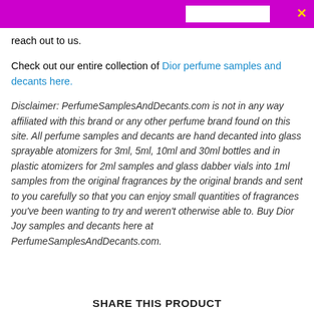reach out to us.
Check out our entire collection of Dior perfume samples and decants here.
Disclaimer: PerfumeSamplesAndDecants.com is not in any way affiliated with this brand or any other perfume brand found on this site. All perfume samples and decants are hand decanted into glass sprayable atomizers for 3ml, 5ml, 10ml and 30ml bottles and in plastic atomizers for 2ml samples and glass dabber vials into 1ml samples from the original fragrances by the original brands and sent to you carefully so that you can enjoy small quantities of fragrances you've been wanting to try and weren't otherwise able to. Buy Dior Joy samples and decants here at PerfumeSamplesAndDecants.com.
SHARE THIS PRODUCT